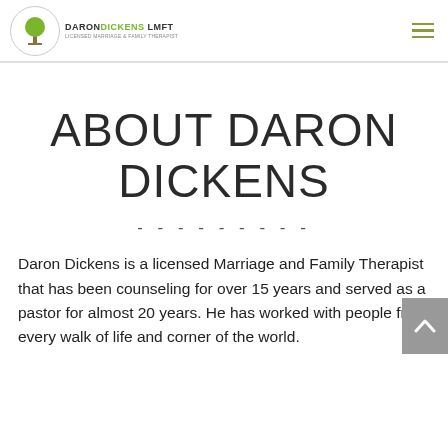[Figure (logo): Daron Dickens LMFT logo with tree icon in a circle]
ABOUT DARON DICKENS
- - - - - - - - -
Daron Dickens is a licensed Marriage and Family Therapist that has been counseling for over 15 years and served as a pastor for almost 20 years. He has worked with people from every walk of life and corner of the world. Daron has also worked with a great many of